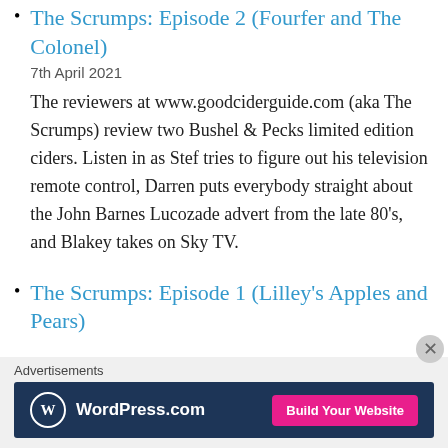The Scrumps: Episode 2 (Fourfer and The Colonel)
7th April 2021
The reviewers at www.goodciderguide.com (aka The Scrumps) review two Bushel & Pecks limited edition ciders. Listen in as Stef tries to figure out his television remote control, Darren puts everybody straight about the John Barnes Lucozade advert from the late 80's, and Blakey takes on Sky TV.
The Scrumps: Episode 1 (Lilley's Apples and Pears)
Advertisements
[Figure (other): WordPress.com advertisement banner with dark blue background, WordPress logo on left, and 'Build Your Website' pink button on right]